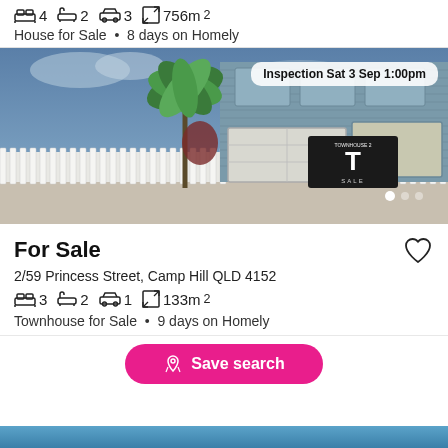4 beds  2 baths  3 cars  756m²
House for Sale • 8 days on Homely
[Figure (photo): Exterior photo of a modern two-storey townhouse with blue-grey cladding, white picket fence, palm trees, and a black Torres Property 'For Sale' sign reading 'TOWNHOUSE 2']
Inspection Sat 3 Sep 1:00pm
For Sale
2/59 Princess Street, Camp Hill QLD 4152
3 beds  2 baths  1 car  133m²
Townhouse for Sale • 9 days on Homely
Save search